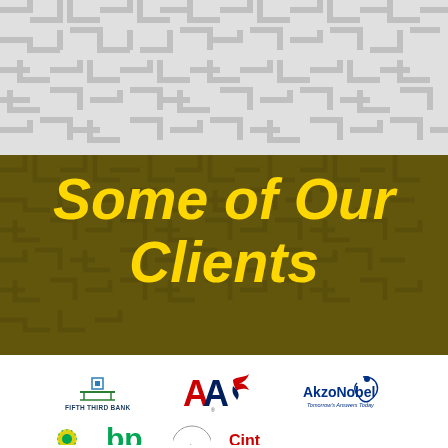[Figure (illustration): Gray maze/labyrinth decorative pattern background at top of page]
Some of Our Clients
[Figure (logo): Client logos including Fifth Third Bank, American Airlines (AA), AkzoNobel, BP, and partially visible logos in a white box section]
Fifth Third Bank, American Airlines, AkzoNobel, bp